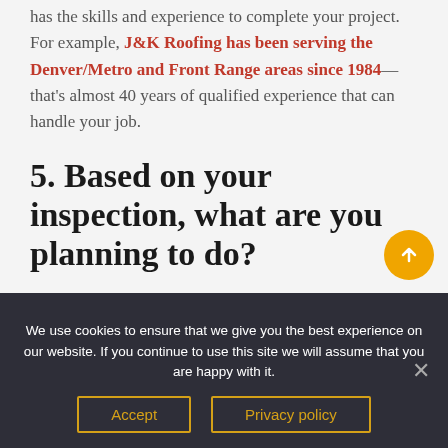has the skills and experience to complete your project. For example, J&K Roofing has been serving the Denver/Metro and Front Range areas since 1984—that's almost 40 years of qualified experience that can handle your job.
5. Based on your inspection, what are you planning to do?
Unfortunately, not all roofing companies take the same approach to provide the
We use cookies to ensure that we give you the best experience on our website. If you continue to use this site we will assume that you are happy with it.